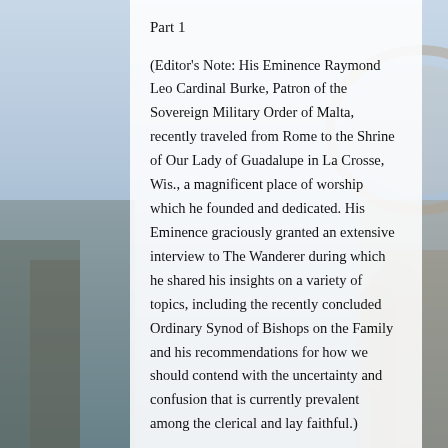Part 1
(Editor's Note: His Eminence Raymond Leo Cardinal Burke, Patron of the Sovereign Military Order of Malta, recently traveled from Rome to the Shrine of Our Lady of Guadalupe in La Crosse, Wis., a magnificent place of worship which he founded and dedicated. His Eminence graciously granted an extensive interview to The Wanderer during which he shared his insights on a variety of topics, including the recently concluded Ordinary Synod of Bishops on the Family and his recommendations for how we should contend with the uncertainty and confusion that is currently prevalent among the clerical and lay faithful.)